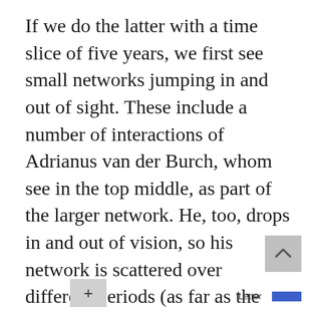If we do the latter with a time slice of five years, we first see small networks jumping in and out of sight. These include a number of interactions of Adrianus van der Burch, whom see in the top middle, as part of the larger network. He, too, drops in and out of vision, so his network is scattered over different periods (as far as the data in ms. 983 are concerned, of course).  See the interactive visualisation (if the visualisation is not visible, please use another  browser):